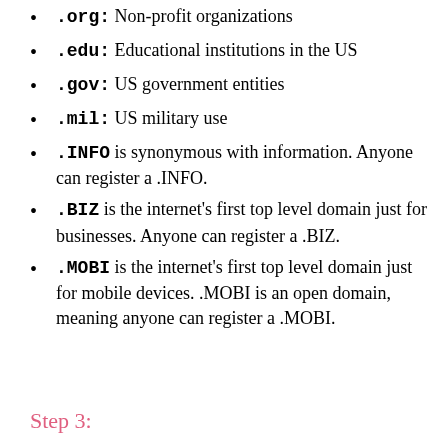.org: Non-profit organizations
.edu: Educational institutions in the US
.gov: US government entities
.mil: US military use
.INFO is synonymous with information. Anyone can register a .INFO.
.BIZ is the internet's first top level domain just for businesses. Anyone can register a .BIZ.
.MOBI is the internet's first top level domain just for mobile devices. .MOBI is an open domain, meaning anyone can register a .MOBI.
Step 3: